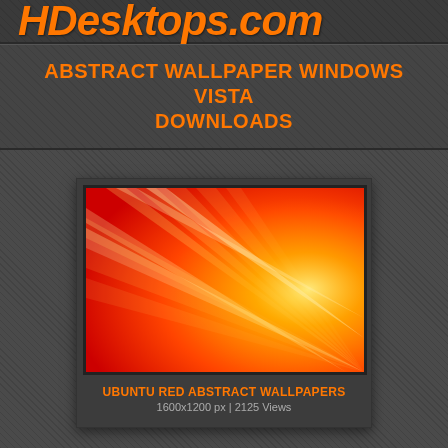HDesktops.com
ABSTRACT WALLPAPER WINDOWS VISTA DOWNLOADS
[Figure (illustration): Ubuntu Red Abstract Wallpaper thumbnail showing orange-red gradient swirling light rays on dark background]
UBUNTU RED ABSTRACT WALLPAPERS
1600x1200 px | 2125 Views